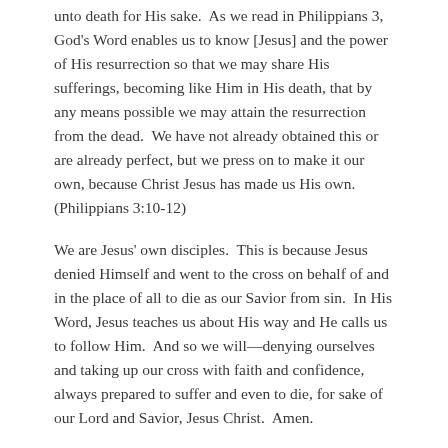unto death for His sake.  As we read in Philippians 3, God's Word enables us to know [Jesus] and the power of His resurrection so that we may share His sufferings, becoming like Him in His death, that by any means possible we may attain the resurrection from the dead.  We have not already obtained this or are already perfect, but we press on to make it our own, because Christ Jesus has made us His own. (Philippians 3:10-12)
We are Jesus' own disciples.  This is because Jesus denied Himself and went to the cross on behalf of and in the place of all to die as our Savior from sin.  In His Word, Jesus teaches us about His way and He calls us to follow Him.  And so we will—denying ourselves and taking up our cross with faith and confidence, always prepared to suffer and even to die, for sake of our Lord and Savior, Jesus Christ.  Amen.